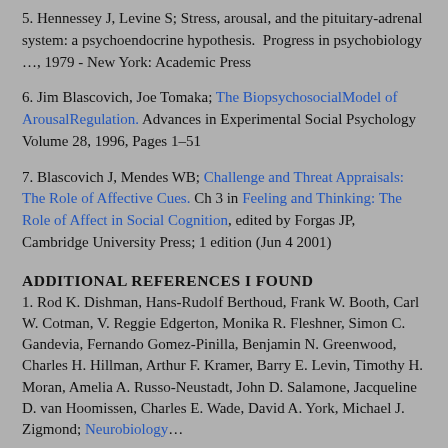5. Hennessey J, Levine S; Stress, arousal, and the pituitary-adrenal system: a psychoendocrine hypothesis. Progress in psychobiology …, 1979 - New York: Academic Press
6. Jim Blascovich, Joe Tomaka; The BiopsychosocialModel of ArousalRegulation. Advances in Experimental Social Psychology Volume 28, 1996, Pages 1–51
7. Blascovich J, Mendes WB; Challenge and Threat Appraisals: The Role of Affective Cues. Ch 3 in Feeling and Thinking: The Role of Affect in Social Cognition, edited by Forgas JP, Cambridge University Press; 1 edition (Jun 4 2001)
ADDITIONAL REFERENCES I FOUND
1. Rod K. Dishman, Hans-Rudolf Berthoud, Frank W. Booth, Carl W. Cotman, V. Reggie Edgerton, Monika R. Fleshner, Simon C. Gandevia, Fernando Gomez-Pinilla, Benjamin N. Greenwood, Charles H. Hillman, Arthur F. Kramer, Barry E. Levin, Timothy H. Moran, Amelia A. Russo-Neustadt, John D. Salamone, Jacqueline D. van Hoomissen, Charles E. Wade, David A. York, Michael J. Zigmond; Neurobiology…